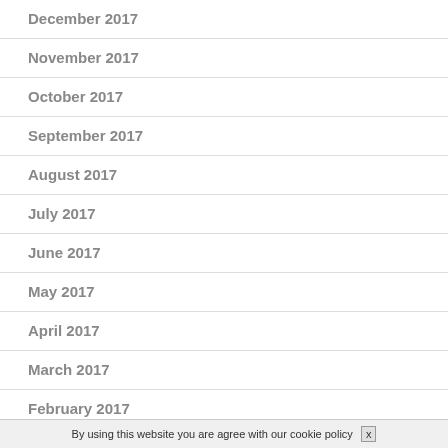December 2017
November 2017
October 2017
September 2017
August 2017
July 2017
June 2017
May 2017
April 2017
March 2017
February 2017
January 2017
By using this website you are agree with our cookie policy  x